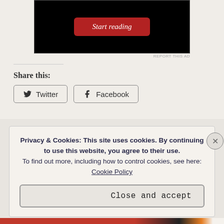[Figure (screenshot): Black advertisement block with red 'Start reading' button in italic text]
REPORT THIS AD
Share this:
Twitter
Facebook
Loading...
Privacy & Cookies: This site uses cookies. By continuing to use this website, you agree to their use.
To find out more, including how to control cookies, see here:
Cookie Policy
Close and accept